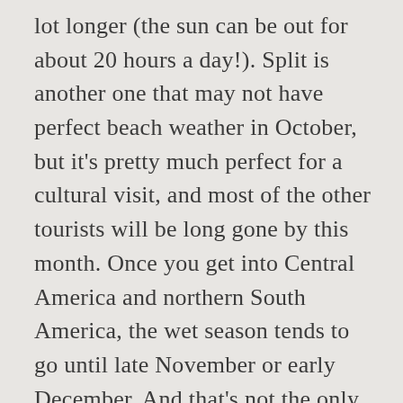lot longer (the sun can be out for about 20 hours a day!). Split is another one that may not have perfect beach weather in October, but it's pretty much perfect for a cultural visit, and most of the other tourists will be long gone by this month. Once you get into Central America and northern South America, the wet season tends to go until late November or early December. And that's not the only reason to plan a honeymoon or romantic vacation at ... Taiwan If you're itching to stretch your legs, swap out obvious hikes in the national park for less traversed trails within the Buffalo Bill State Park or the Shoshone National Forest. Obviously it's spring in the southern